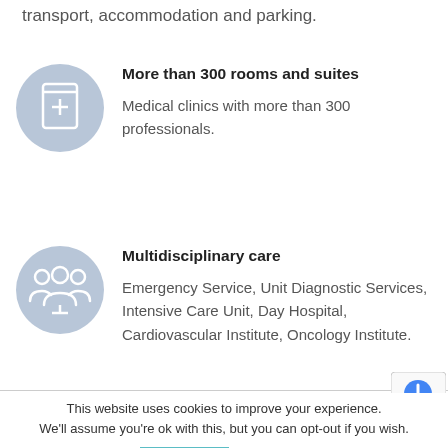transport, accommodation and parking.
More than 300 rooms and suites
Medical clinics with more than 300 professionals.
Multidisciplinary care
Emergency Service, Unit Diagnostic Services, Intensive Care Unit, Day Hospital, Cardiovascular Institute, Oncology Institute.
This website uses cookies to improve your experience. We'll assume you're ok with this, but you can opt-out if you wish.
Accept
Read More